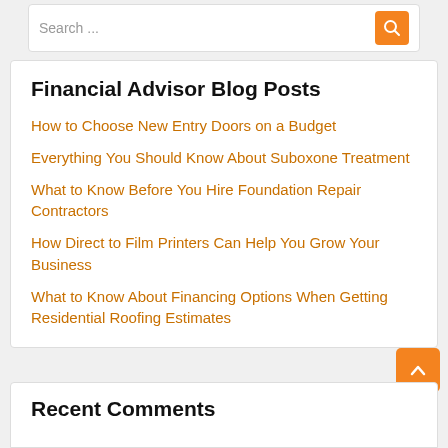Search ...
Financial Advisor Blog Posts
How to Choose New Entry Doors on a Budget
Everything You Should Know About Suboxone Treatment
What to Know Before You Hire Foundation Repair Contractors
How Direct to Film Printers Can Help You Grow Your Business
What to Know About Financing Options When Getting Residential Roofing Estimates
Recent Comments